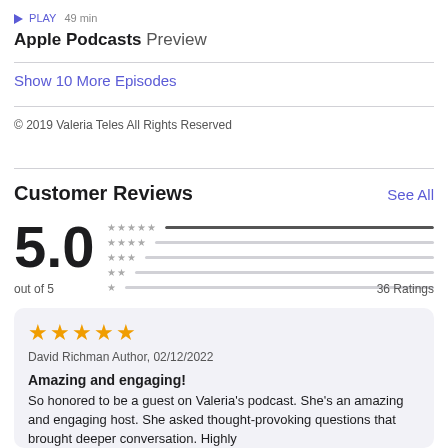PLAY 49 min
Apple Podcasts Preview
Show 10 More Episodes
© 2019 Valeria Teles All Rights Reserved
Customer Reviews
See All
5.0 out of 5
36 Ratings
★★★★★ David Richman Author, 02/12/2022 Amazing and engaging! So honored to be a guest on Valeria's podcast. She's an amazing and engaging host. She asked thought-provoking questions that brought deeper conversation. Highly